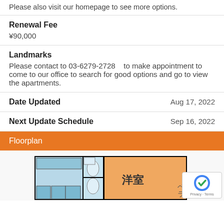Please also visit our homepage to see more options.
Renewal Fee
¥90,000
Landmarks
Please contact to 03-6279-2728    to make appointment to come to our office to search for good options and go to view the apartments.
Date Updated		Aug 17, 2022
Next Update Schedule		Sep 16, 2022
Floorplan
[Figure (other): Apartment floorplan diagram showing room layout with Japanese text]